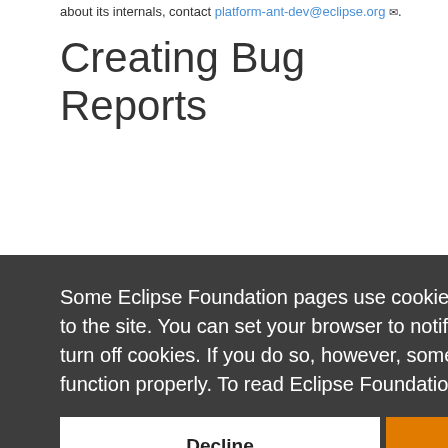about its internals, contact platform-ant-dev@eclipse.org.
Creating Bug Reports
Some Eclipse Foundation pages use cookies to better serve you when you return to the site. You can set your browser to notify you before you receive a cookie or turn off cookies. If you do so, however, some areas of some sites may not function properly. To read Eclipse Foundation Privacy Policy click here.
Decline
Allow cookies
Bugzilla is not a forum. Do not ask questions on